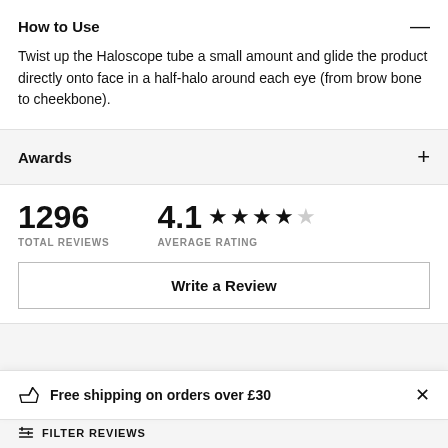How to Use
Twist up the Haloscope tube a small amount and glide the product directly onto face in a half-halo around each eye (from brow bone to cheekbone).
Awards
1296 TOTAL REVIEWS
4.1 ★★★★☆ AVERAGE RATING
Write a Review
Free shipping on orders over £30
FILTER REVIEWS